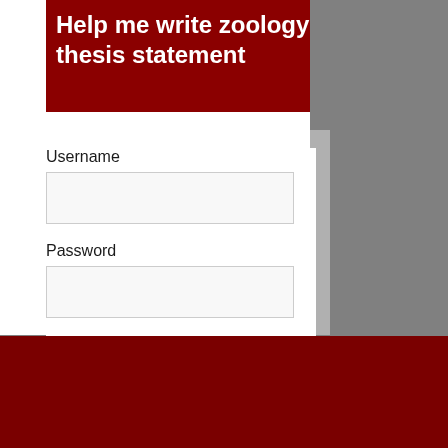Help me write zoology thesis statement
Username
Password
Remember Me
Login